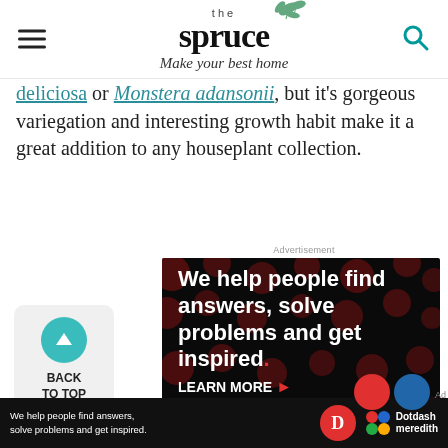the spruce — Make your best home
deliciosa or Monstera adansonii, but it's gorgeous variegation and interesting growth habit make it a great addition to any houseplant collection.
[Figure (screenshot): Advertisement banner: black background with dark red polka dots, white bold text reading 'We help people find answers, solve problems and get inspired.' with a red period. LEARN MORE button visible. Dotdash Meredith logos at bottom.]
[Figure (screenshot): Bottom sticky ad bar: black background, white text 'We help people find answers, solve problems and get inspired.' with Dotdash Meredith logo on right.]